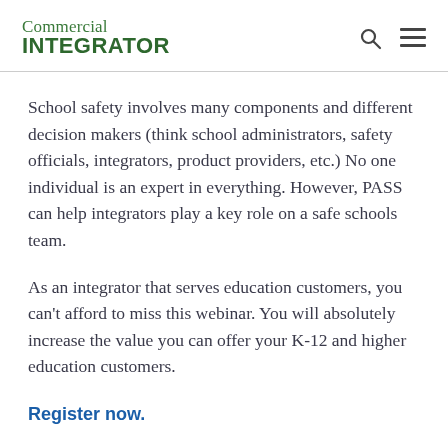Commercial INTEGRATOR
School safety involves many components and different decision makers (think school administrators, safety officials, integrators, product providers, etc.) No one individual is an expert in everything. However, PASS can help integrators play a key role on a safe schools team.
As an integrator that serves education customers, you can't afford to miss this webinar. You will absolutely increase the value you can offer your K-12 and higher education customers.
Register now.